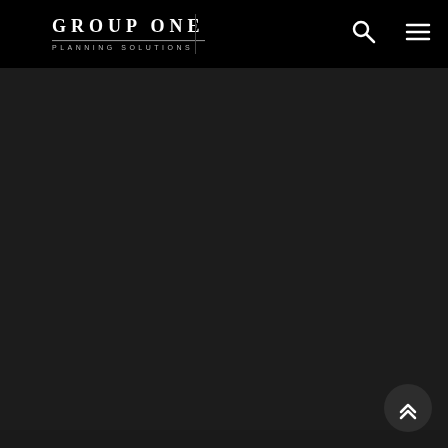GROUP ONE PLANNING SOLUTIONS
[Figure (logo): Group One Planning Solutions logo with search and hamburger menu icons in black header bar]
[Figure (other): Dark gray/black main content area, largely empty]